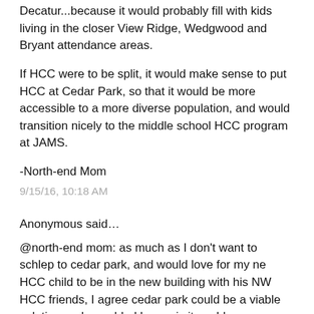Decatur...because it would probably fill with kids living in the closer View Ridge, Wedgwood and Bryant attendance areas.
If HCC were to be split, it would make sense to put HCC at Cedar Park, so that it would be more accessible to a more diverse population, and would transition nicely to the middle school HCC program at JAMS.
-North-end Mom
9/15/16, 10:18 AM
Anonymous said…
@north-end mom: as much as I don't want to schlep to cedar park, and would love for my ne HCC child to be in the new building with his NW HCC friends, I agree cedar park could be a viable solution and an added bonus is it could serve as an accessible pipeline for a diverse community of undiscovered gifted students.
Hopeful